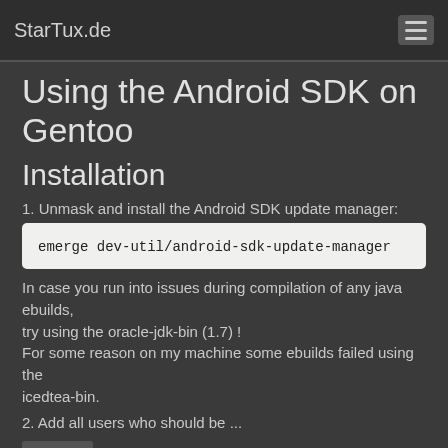StarTux.de
Using the Android SDK on Gentoo
Installation
1. Unmask and install the Android SDK update manager:
emerge dev-util/android-sdk-update-manager
In case you run into issues during compilation of any java ebuilds, try using the oracle-jdk-bin (1.7) !
For some reason on my machine some ebuilds failed using the icedtea-bin.
2. Add all users who should be ...
more ...